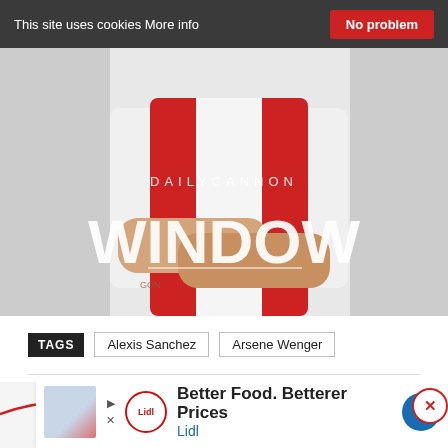This site uses cookies More info | No problem
[Figure (photo): Arsenal footballer (Alexis Sanchez) in red and white kit with arms crossed, with Daily Cannon and WINDOW text overlay]
TAGS  Alexis Sanchez  Arsene Wenger
[Figure (infographic): Advertisement banner for Lidl: Better Food. Betterer Prices, Lidl]